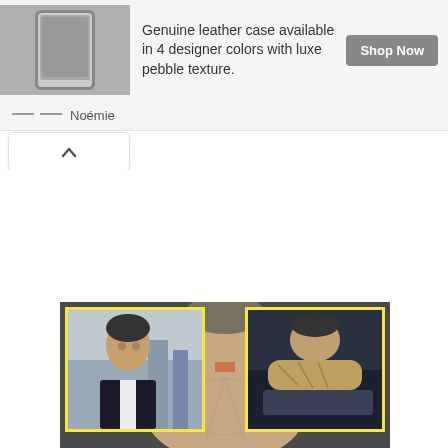[Figure (photo): Advertisement thumbnail showing a leather phone case product image on grey background]
Genuine leather case available in 4 designer colors with luxe pebble texture.
[Figure (other): Shop Now button in grey]
Noémie
[Figure (other): Collapse/chevron up button]
[Figure (photo): Main image showing a man with tattoos on his back viewed from behind, with two inset images: left inset shows a man in a suit, right inset shows a man with tattoos working]